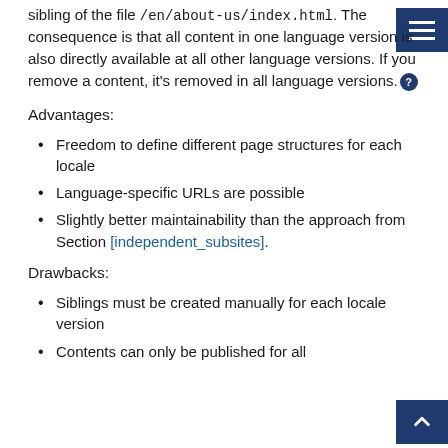sibling of the file /en/about-us/index.html. The consequence is that all content in one language version is also directly available at all other language versions. If you remove a content, it's removed in all language versions.
Advantages:
Freedom to define different page structures for each locale
Language-specific URLs are possible
Slightly better maintainability than the approach from Section [independent_subsites].
Drawbacks:
Siblings must be created manually for each locale version
Contents can only be published for all